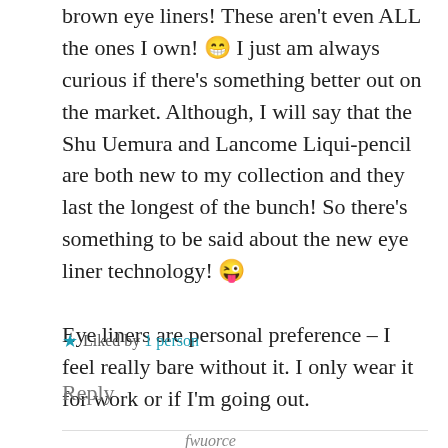brown eye liners! These aren't even ALL the ones I own! 😁 I just am always curious if there's something better out on the market. Although, I will say that the Shu Uemura and Lancome Liqui-pencil are both new to my collection and they last the longest of the bunch! So there's something to be said about the new eye liner technology! 😜 Eye liners are personal preference – I feel really bare without it. I only wear it for work or if I'm going out.
⭐ Liked by 1 person
Reply